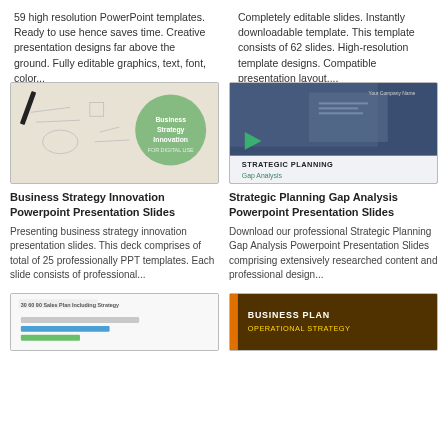59 high resolution PowerPoint templates. Ready to use hence saves time. Creative presentation designs far above the ground. Fully editable graphics, text, font, color...
Completely editable slides. Instantly downloadable template. This template consists of 62 slides. High-resolution template designs. Compatible presentation layout....
[Figure (photo): Business Strategy Innovation PowerPoint template thumbnail showing hand sketching on paper with doodles and a green circle overlay with bold text 'Business Strategy Innovation']
[Figure (photo): Strategic Planning Gap Analysis PowerPoint template thumbnail showing hands writing on documents with a dark blue overlay, triangle shape, and white label 'STRATEGIC PLANNING Gap Analysis']
Business Strategy Innovation Powerpoint Presentation Slides
Strategic Planning Gap Analysis Powerpoint Presentation Slides
Presenting business strategy innovation presentation slides. This deck comprises of total of 25 professionally PPT templates. Each slide consists of professional...
Download our professional Strategic Planning Gap Analysis Powerpoint Presentation Slides comprising extensively researched content and professional design...
[Figure (screenshot): 30 60 90 Sales Plan Including Strategy template thumbnail showing a white slide with bar charts and the title text '30 60 90 Sales Plan Including Strategy']
[Figure (screenshot): Business Plan Operational Strategy template thumbnail showing a dark brown/gold colored slide with bold text 'BUSINESS PLAN OPERATIONAL STRATEGY']